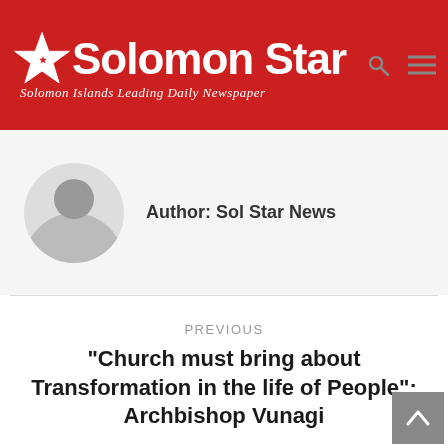Solomon Star – Solomon Islands Leading Daily Newspaper
Author: Sol Star News
PREVIOUS
“Church must bring about Transformation in the life of People”: Archbishop Vunagi
NEXT
More SolRais’ promotion winners